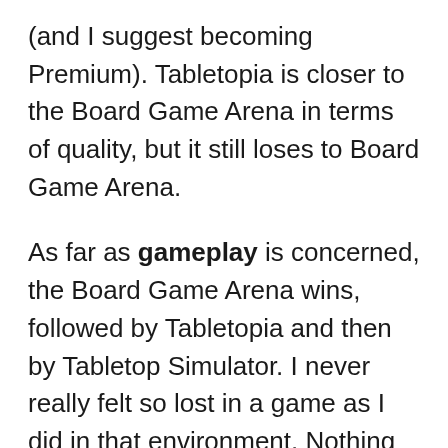(and I suggest becoming Premium). Tabletopia is closer to the Board Game Arena in terms of quality, but it still loses to Board Game Arena.
As far as gameplay is concerned, the Board Game Arena wins, followed by Tabletopia and then by Tabletop Simulator. I never really felt so lost in a game as I did in that environment. Nothing is intuitive, logical or usable. To get this result, I played the same game on 3 platforms, so the comparison was fair.